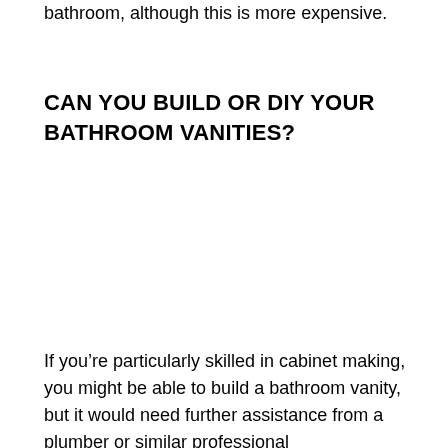bathroom, although this is more expensive.
CAN YOU BUILD OR DIY YOUR BATHROOM VANITIES?
If you're particularly skilled in cabinet making, you might be able to build a bathroom vanity, but it would need further assistance from a plumber or similar professional